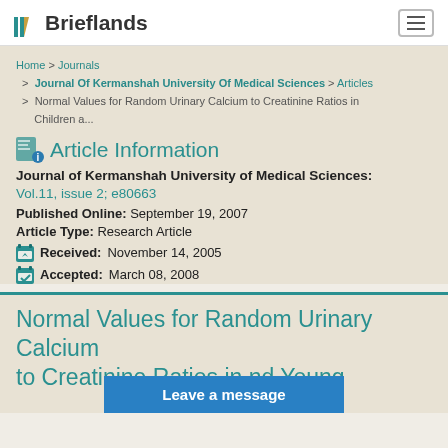Brieflands
Home > Journals > Journal Of Kermanshah University Of Medical Sciences > Articles > Normal Values for Random Urinary Calcium to Creatinine Ratios in Children a...
Article Information
Journal of Kermanshah University of Medical Sciences: Vol.11, issue 2; e80663
Published Online: September 19, 2007
Article Type: Research Article
Received: November 14, 2005
Accepted: March 08, 2008
Normal Values for Random Urinary Calcium to Creatinine Ratios in Children and Young